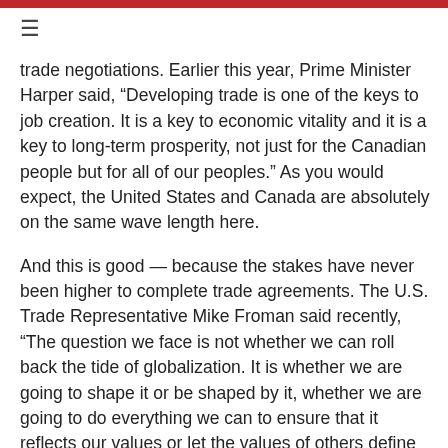≡
trade negotiations. Earlier this year, Prime Minister Harper said, “Developing trade is one of the keys to job creation. It is a key to economic vitality and it is a key to long-term prosperity, not just for the Canadian people but for all of our peoples.” As you would expect, the United States and Canada are absolutely on the same wave length here.
And this is good — because the stakes have never been higher to complete trade agreements. The U.S. Trade Representative Mike Froman said recently, “The question we face is not whether we can roll back the tide of globalization. It is whether we are going to shape it or be shaped by it, whether we are going to do everything we can to ensure that it reflects our values or let the values of others define it.”